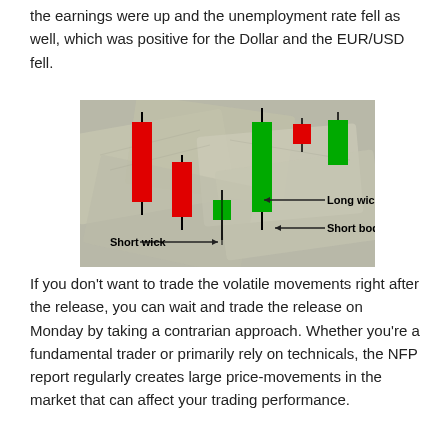the earnings were up and the unemployment rate fell as well, which was positive for the Dollar and the EUR/USD fell.
[Figure (illustration): Candlestick chart diagram showing red (bearish) and green (bullish) candles against a background of US dollar bills. Annotations with arrows label 'Long wick', 'Short body', and 'Short wick' pointing to parts of the candlesticks.]
If you don't want to trade the volatile movements right after the release, you can wait and trade the release on Monday by taking a contrarian approach. Whether you're a fundamental trader or primarily rely on technicals, the NFP report regularly creates large price-movements in the market that can affect your trading performance.